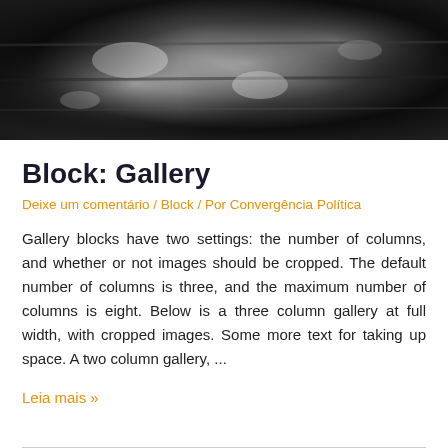[Figure (photo): Black and white close-up photograph of a weathered barrel or cylindrical object with peeling paint/rust texture]
Block: Gallery
Deixe um comentário / Block / Por Convergência Política
Gallery blocks have two settings: the number of columns, and whether or not images should be cropped. The default number of columns is three, and the maximum number of columns is eight. Below is a three column gallery at full width, with cropped images. Some more text for taking up space. A two column gallery, ...
Leia mais »